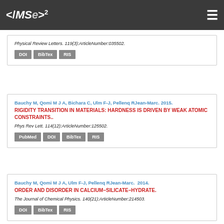</MSe>²
Physical Review Letters. 119(3):ArticleNumber:035502.
DOI  BibTex  RIS
Bauchy M, Qomi M J A, Bichara C, Ulm F-J, Pellenq RJean-Marc. 2015.
RIGIDITY TRANSITION IN MATERIALS: HARDNESS IS DRIVEN BY WEAK ATOMIC CONSTRAINTS..
Phys Rev Lett. 114(12):ArticleNumber:125502.
PubMed  DOI  BibTex  RIS
Bauchy M, Qomi M J A, Ulm F-J, Pellenq RJean-Marc.  2014.
ORDER AND DISORDER IN CALCIUM–SILICATE–HYDRATE.
The Journal of Chemical Physics. 140(21):ArticleNumber:214503.
DOI  BibTex  RIS